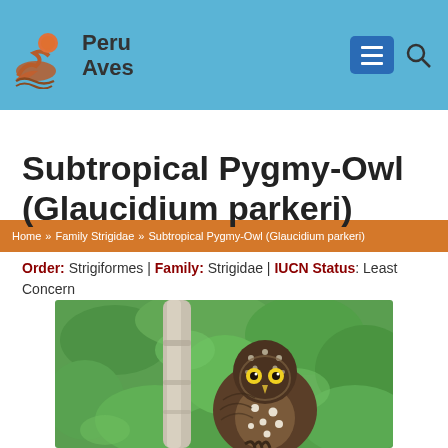Peru Aves
Home » Family Strigidae » Subtropical Pygmy-Owl (Glaucidium parkeri)
Subtropical Pygmy-Owl (Glaucidium parkeri)
Order: Strigiformes | Family: Strigidae | IUCN Status: Least Concern
[Figure (photo): A Subtropical Pygmy-Owl (Glaucidium parkeri) perched on a tree branch, facing forward, with brown speckled plumage, yellow eyes, and green foliage in the background.]